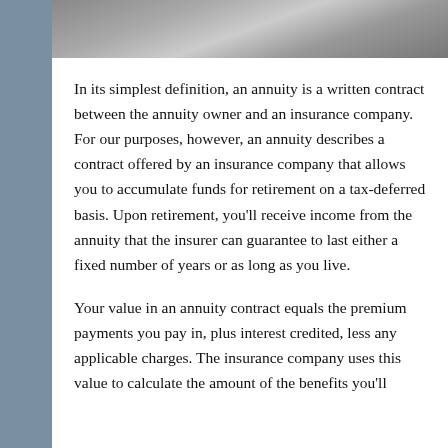[Figure (photo): Partial photo of people or scene, shown as a horizontal strip at the top of the content area in grayscale/muted tones.]
In its simplest definition, an annuity is a written contract between the annuity owner and an insurance company. For our purposes, however, an annuity describes a contract offered by an insurance company that allows you to accumulate funds for retirement on a tax-deferred basis. Upon retirement, you'll receive income from the annuity that the insurer can guarantee to last either a fixed number of years or as long as you live.
Your value in an annuity contract equals the premium payments you pay in, plus interest credited, less any applicable charges. The insurance company uses this value to calculate the amount of the benefits you'll